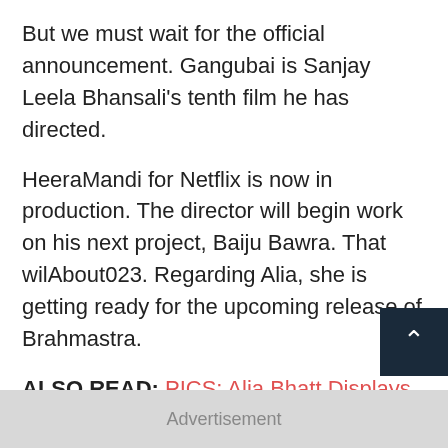But we must wait for the official announcement. Gangubai is Sanjay Leela Bhansali's tenth film he has directed.
HeeraMandi for Netflix is now in production. The director will begin work on his next project, Baiju Bawra. That wilAbout023. Regarding Alia, she is getting ready for the upcoming release of Brahmastra.
ALSO READ: PICS: Alia Bhatt Displays Her Growing Baby Tummy While Posing With Ranbir Kapoor To Promote Brahmastr
Advertisement